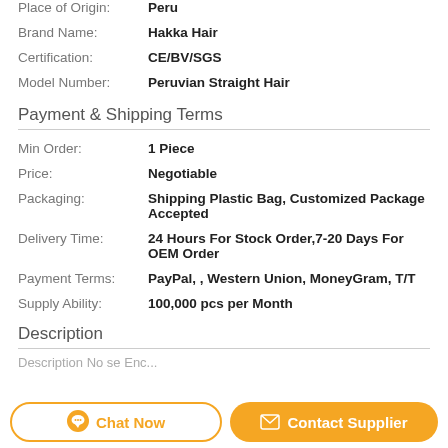Place of Origin: Peru
Brand Name: Hakka Hair
Certification: CE/BV/SGS
Model Number: Peruvian Straight Hair
Payment & Shipping Terms
Min Order: 1 Piece
Price: Negotiable
Packaging: Shipping Plastic Bag, Customized Package Accepted
Delivery Time: 24 Hours For Stock Order,7-20 Days For OEM Order
Payment Terms: PayPal, , Western Union, MoneyGram, T/T
Supply Ability: 100,000 pcs per Month
Description